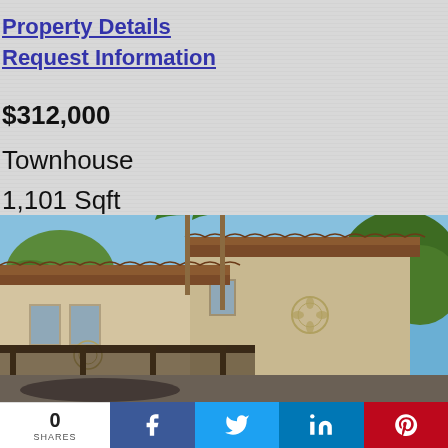Property Details
Request Information
$312,000
Townhouse
1,101 Sqft
[Figure (photo): Exterior photo of a two-story stucco townhouse with tile roof, carport, palm trees, and surrounding vegetation under a blue sky]
0
SHARES